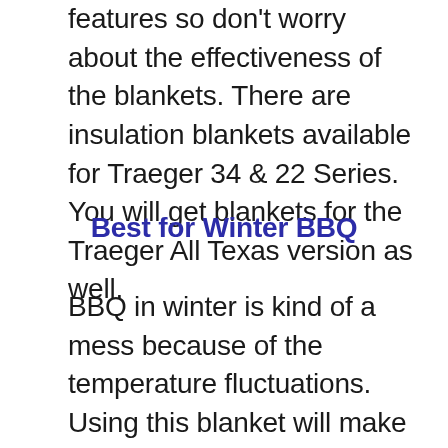features so don't worry about the effectiveness of the blankets. There are insulation blankets available for Traeger 34 & 22 Series. You will get blankets for the Traeger All Texas version as well.
Best for Winter BBQ
BBQ in winter is kind of a mess because of the temperature fluctuations. Using this blanket will make your BBQ smooth as the product will make your dish ready in less time than usual. The blanket will burn fewer pellets as well. Uniflasy Thermal Insulator will become a must-needed material for your winter BBQ if